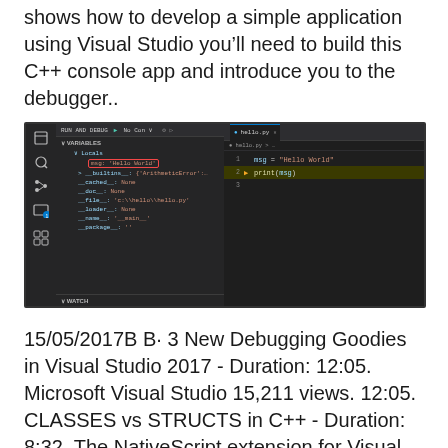shows how to develop a simple application using Visual Studio you'll need to build this C++ console app and introduce you to the debugger..
[Figure (screenshot): Visual Studio Code screenshot showing a Python debugging session. Left panel shows VARIABLES with Locals section, msg: 'Hello World' highlighted in red box, __builtins__, __cached__: None, __doc__: None, __file__: 'c:\hello\hello.py', __loader__: None, __name__: '__main__', __package__: ''. WATCH section at bottom. Right panel shows hello.py open with code: msg = 'Hello World' and print(msg) highlighted in yellow.]
15/05/2017В В· 3 New Debugging Goodies in Visual Studio 2017 - Duration: 12:05. Microsoft Visual Studio 15,211 views. 12:05. CLASSES vs STRUCTS in C++ - Duration: 8:32. The NativeScript extension for Visual Studio Code is a